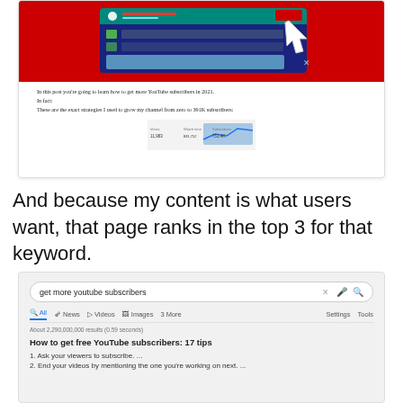[Figure (screenshot): Screenshot of a blog post about getting more YouTube subscribers, showing a YouTube interface illustration at the top and partial text content including analytics dashboard]
And because my content is what users want, that page ranks in the top 3 for that keyword.
[Figure (screenshot): Google search results screenshot for 'get more youtube subscribers' showing About 2,290,000,000 results (0.59 seconds), with top result 'How to get free YouTube subscribers: 17 tips' and two list items: 1. Ask your viewers to subscribe. ... 2. End your videos by mentioning the one you're working on next. ...]